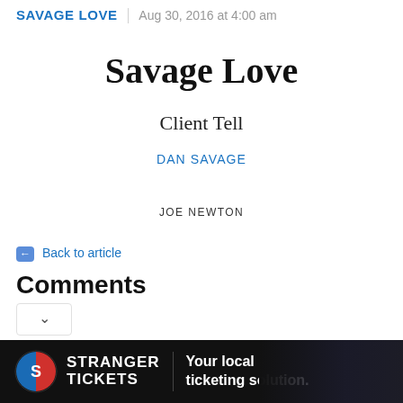SAVAGE LOVE | Aug 30, 2016 at 4:00 am
Savage Love
Client Tell
DAN SAVAGE
JOE NEWTON
← Back to article
Comments
[Figure (other): Advertisement banner for Stranger Tickets - Your local ticketing solution]